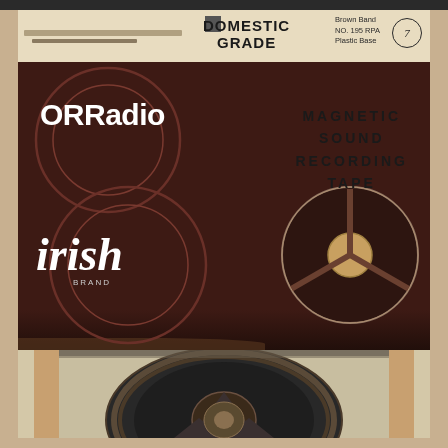[Figure (photo): Photograph of an ORRadio Irish Brand magnetic sound recording tape box (domestic grade, Brown Band No. 195 RPA, Plastic Base) with the box open showing the actual reel of magnetic tape inside. The box is dark reddish-brown with white text and decorative reel graphics. The physical tape reel is dark brown/black metal visible in the lower half of the image, resting on a wooden surface.]